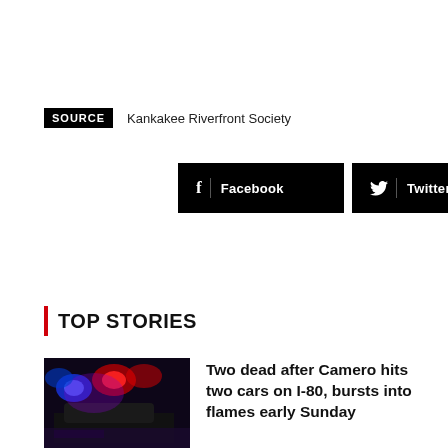SOURCE   Kankakee Riverfront Society
[Figure (screenshot): Social sharing buttons: Facebook (black), Twitter (black), and a plus/more button (light gray)]
TOP STORIES
[Figure (photo): Police car with red and blue flashing lights at night scene]
Two dead after Camero hits two cars on I-80, bursts into flames early Sunday